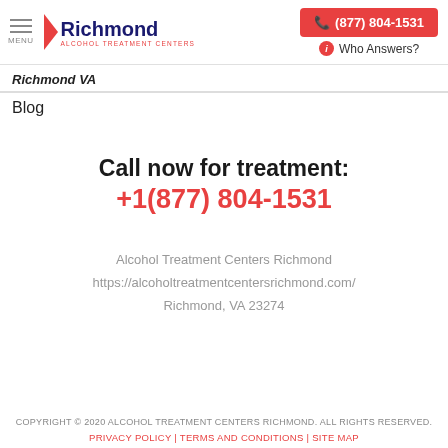Richmond Alcohol Treatment Centers | (877) 804-1531 | Who Answers?
Richmond VA
Blog
Call now for treatment:
+1(877) 804-1531
Alcohol Treatment Centers Richmond
https://alcoholtreatmentcentersrichmond.com/
Richmond, VA 23274
COPYRIGHT © 2020 ALCOHOL TREATMENT CENTERS RICHMOND. ALL RIGHTS RESERVED.
PRIVACY POLICY | TERMS AND CONDITIONS | SITE MAP